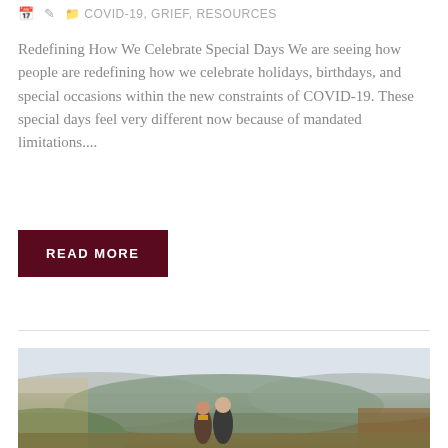COVID-19, GRIEF, RESOURCES
Redefining How We Celebrate Special Days We are seeing how people are redefining how we celebrate holidays, birthdays, and special occasions within the new constraints of COVID-19. These special days feel very different now because of mandated limitations....
READ MORE
[Figure (photo): An older couple standing outdoors with misty rolling hills and autumn foliage in the background. The woman wears a yellow scarf.]